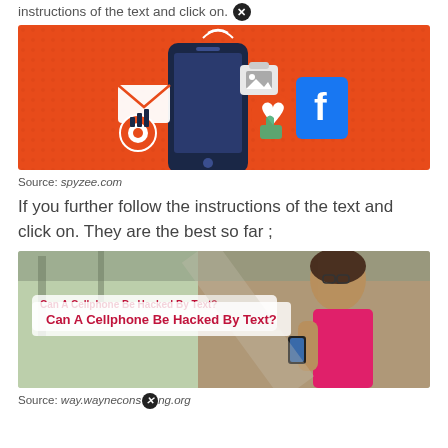instructions of the text and click on.
[Figure (illustration): Orange background illustration of a smartphone with social media icons including a heart, Facebook logo, target/bullseye, and email envelope, with wifi signal waves.]
Source: spyzee.com
If you further follow the instructions of the text and click on. They are the best so far ;
[Figure (photo): Photo of a woman with glasses and long hair wearing a pink top, looking at a phone or tablet. Overlaid text reads: Can A Cellphone Be Hacked By Text?]
Source: way.wayneconsulting.org